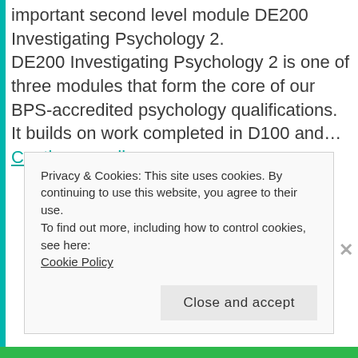important second level module DE200 Investigating Psychology 2. DE200 Investigating Psychology 2 is one of three modules that form the core of our BPS-accredited psychology qualifications. It builds on work completed in D100 and… Continue reading
Privacy & Cookies: This site uses cookies. By continuing to use this website, you agree to their use.
To find out more, including how to control cookies, see here: Cookie Policy
Close and accept